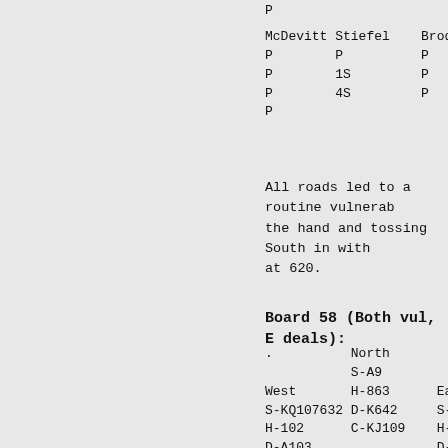|  | P |  |
| --- | --- | --- |
| McDevitt | Stiefel | Brod |
| P | P | P |
| P | 1S | P |
| P | 4S | P |
| P |  |  |
All roads led to a routine vulnerab the hand and tossing South in with at 620.
Board 58 (Both vul, E deals):
| . | North |  |
| --- | --- | --- |
|  | S-A9 |  |
| West | H-863 | East |
| S-KQ107632 | D-K642 | S-54 |
| H-102 | C-KJ109 | H-AQJ9 |
| D-A103 |  | D-7 |
| C-5 | South | C-Q876 |
|  | S-J8 |  |
|  | H-K75 |  |
|  | D-QJ985 |  |
|  | C-A32 |  |
| East | South | West |
| --- | --- | --- |
| DeMartino | Doub | Becker |
| P | P | 3S |
| P | P | P |